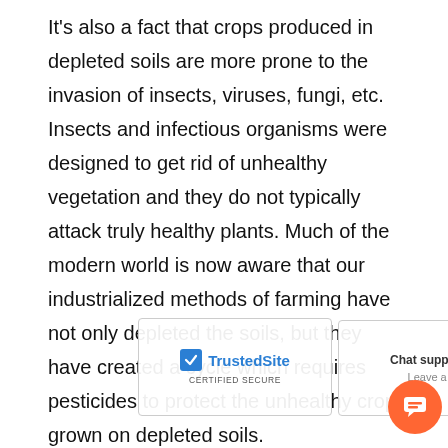It's also a fact that crops produced in depleted soils are more prone to the invasion of insects, viruses, fungi, etc. Insects and infectious organisms were designed to get rid of unhealthy vegetation and they do not typically attack truly healthy plants. Much of the modern world is now aware that our industrialized methods of farming have not only depleted the soils, but they have created a cycle which requires pesticides to protect the unhealthy crops grown on depleted soils.

And who suffers? We all do! There are more than 70 trace minerals necessary to produce healthy, nutrient-rich crops, yet the most current farming methods routinely put back only 3 to 5 of them. And that's only a part of the problem. Inorganic (synthetic, deadly) ammonium based along with herbicides and